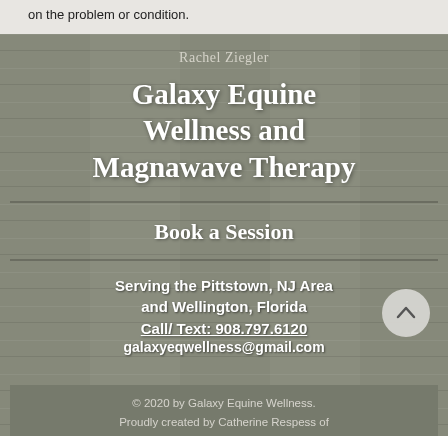on the problem or condition.
[Figure (illustration): Wooden plank background texture with overlaid text content for Galaxy Equine Wellness and Magnawave Therapy business card/footer section]
Rachel Ziegler
Galaxy Equine Wellness and Magnawave Therapy
Book a Session
Serving the Pittstown, NJ Area and Wellington, Florida
Call/ Text: 908.797.6120
galaxyeqwellness@gmail.com
© 2020 by Galaxy Equine Wellness. Proudly created by Catherine Respess of